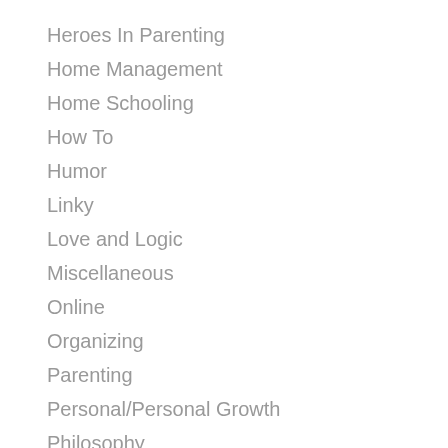Heroes In Parenting
Home Management
Home Schooling
How To
Humor
Linky
Love and Logic
Miscellaneous
Online
Organizing
Parenting
Personal/Personal Growth
Philosophy
Popular